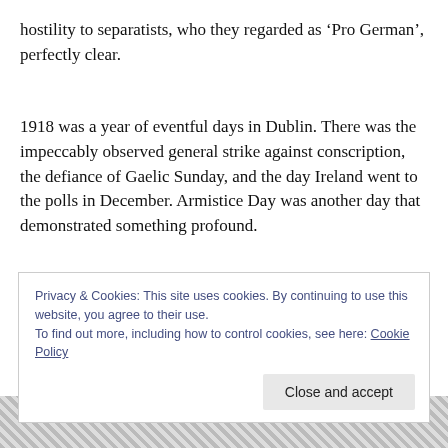hostility to separatists, who they regarded as 'Pro German', perfectly clear.
1918 was a year of eventful days in Dublin. There was the impeccably observed general strike against conscription, the defiance of Gaelic Sunday, and the day Ireland went to the polls in December. Armistice Day was another day that demonstrated something profound.
Privacy & Cookies: This site uses cookies. By continuing to use this website, you agree to their use.
To find out more, including how to control cookies, see here: Cookie Policy
[Figure (illustration): Partially visible illustrated strip at the bottom of the page, showing decorative engraving-style imagery]